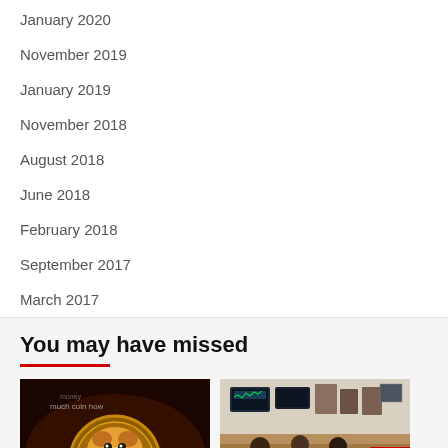January 2020
November 2019
January 2019
November 2018
August 2018
June 2018
February 2018
September 2017
March 2017
You may have missed
[Figure (photo): Dogecoin Shiba Inu meme coin image on dark background]
[Figure (photo): People at a trading/financial office with screens showing market data, with a red play button overlay]